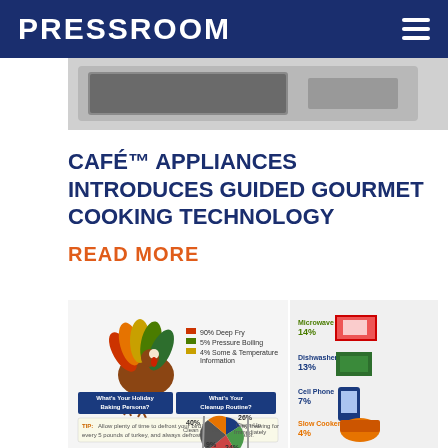PRESSROOM
[Figure (photo): Partial view of a kitchen appliance (likely a refrigerator or range) shown at top of article]
CAFÉ™ APPLIANCES INTRODUCES GUIDED GOURMET COOKING TECHNOLOGY
READ MORE
[Figure (infographic): Thanksgiving cooking infographic showing turkey graphic with statistics: 90% Deep Fry, 5% Pressure Boiling, 4% Some & Temperature Information; tip about thawing turkey; baking persona stats (37%, 37%, 26%); cleanup routine stats (40% Clean as I Go, 26% Clean Up Immediately, 9%, 24%); right side shows kitchen appliances usage: Microwave 14%, Dishwasher 13%, Cell Phone 7%, Slow Cooker 4%; tip about oven racks]